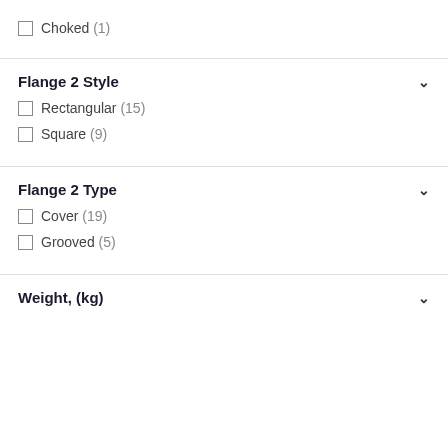Choked (1)
Flange 2 Style
Rectangular (15)
Square (9)
Flange 2 Type
Cover (19)
Grooved (5)
Weight, (kg)